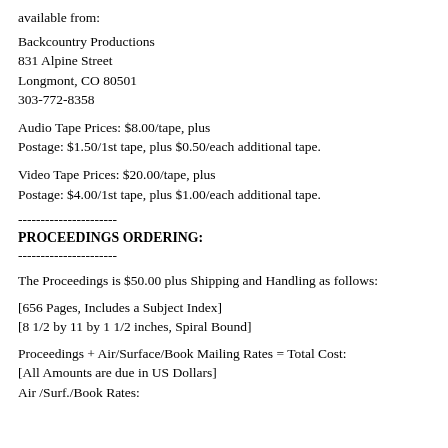available from:
Backcountry Productions
831 Alpine Street
Longmont, CO 80501
303-772-8358
Audio Tape Prices: $8.00/tape, plus
Postage: $1.50/1st tape, plus $0.50/each additional tape.
Video Tape Prices: $20.00/tape, plus
Postage: $4.00/1st tape, plus $1.00/each additional tape.
----------------------
PROCEEDINGS ORDERING:
----------------------
The Proceedings is $50.00 plus Shipping and Handling as follows:
[656 Pages, Includes a Subject Index]
[8 1/2 by 11 by 1 1/2 inches, Spiral Bound]
Proceedings + Air/Surface/Book Mailing Rates = Total Cost:
[All Amounts are due in US Dollars]
Air /Surf./Book Rates: